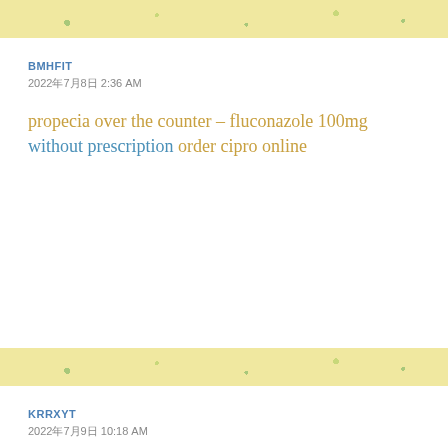[Figure (illustration): Decorative band with light yellow background and small green dot/leaf shapes]
BMHFIT
2022年7月8日 2:36 AM
propecia over the counter – fluconazole 100mg without prescription order cipro online
[Figure (illustration): Decorative band with light yellow background and small green dot/leaf shapes]
KRRXYT
2022年7月9日 10:18 AM
flagyl generic – cephalexin 125mg pill cephalexin price